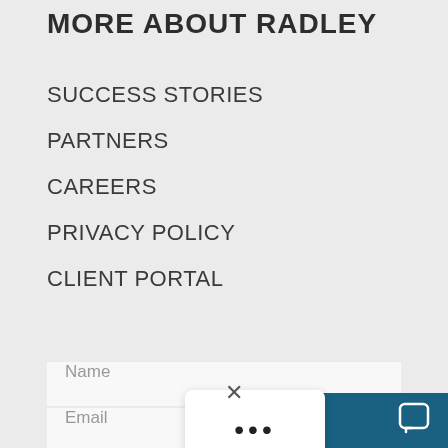MORE ABOUT RADLEY
SUCCESS STORIES
PARTNERS
CAREERS
PRIVACY POLICY
CLIENT PORTAL
Name
Email
Sign Up
[Figure (other): Ellipsis menu popup overlay with three dots and a close (X) button above it]
Chat now